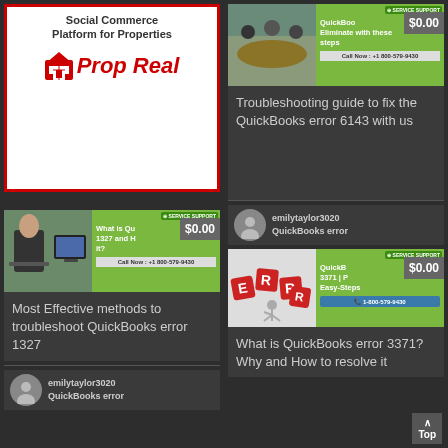[Figure (logo): Prop Real - Social Commerce Platform for Properties logo card with red border]
[Figure (screenshot): QuickBooks service ad card showing $0.00 price and Call Now number]
Troubleshooting guide to fix the QuickBooks error 6143 with us
[Figure (screenshot): QuickBooks error 1327 service card showing $0.00 and Call Now number]
Most Effective methods to troubleshoot QuickBooks error 1327
emilytaylor3020
QuickBooks error
emilytaylor3020
QuickBooks error
[Figure (screenshot): QuickBooks error 3371 service card showing $0.00 and phone number 1-800-579-9430]
What is QuickBooks error 3371? Why and How to resolve it